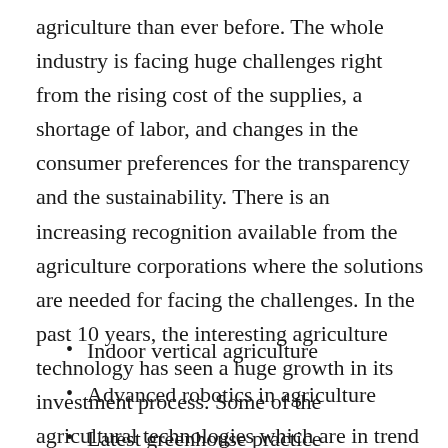agriculture than ever before. The whole industry is facing huge challenges right from the rising cost of the supplies, a shortage of labor, and changes in the consumer preferences for the transparency and the sustainability. There is an increasing recognition available from the agriculture corporations where the solutions are needed for facing the challenges. In the past 10 years, the interesting agriculture technology has seen a huge growth in its investment process. Some of the agricultural technologies which are in trend are listed below and they are:
Indoor vertical agriculture
Advanced robotics in agriculture
Latest greenhouse practice